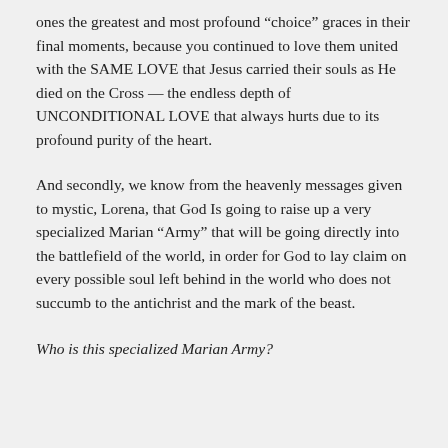ones the greatest and most profound “choice” graces in their final moments, because you continued to love them united with the SAME LOVE that Jesus carried their souls as He died on the Cross — the endless depth of UNCONDITIONAL LOVE that always hurts due to its profound purity of the heart.
And secondly, we know from the heavenly messages given to mystic, Lorena, that God Is going to raise up a very specialized Marian “Army” that will be going directly into the battlefield of the world, in order for God to lay claim on every possible soul left behind in the world who does not succumb to the antichrist and the mark of the beast.
Who is this specialized Marian Army?